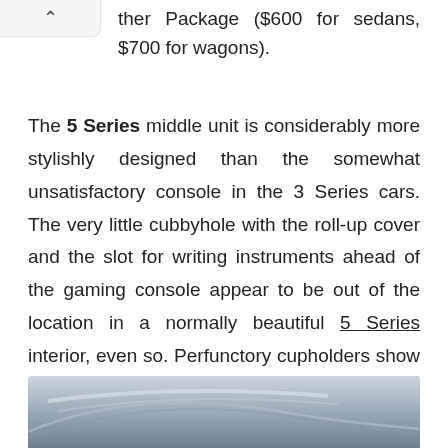ther Package ($600 for sedans, $700 for wagons).
The 5 Series middle unit is considerably more stylishly designed than the somewhat unsatisfactory console in the 3 Series cars. The very little cubbyhole with the roll-up cover and the slot for writing instruments ahead of the gaming console appear to be out of the location in a normally beautiful 5 Series interior, even so. Perfunctory cupholders show BMW continues to have difficulties, or is not anxious, using this type of most Us of features.
[Figure (photo): Partial view of a BMW car exterior showing the roofline and body curves, silver/grey color]